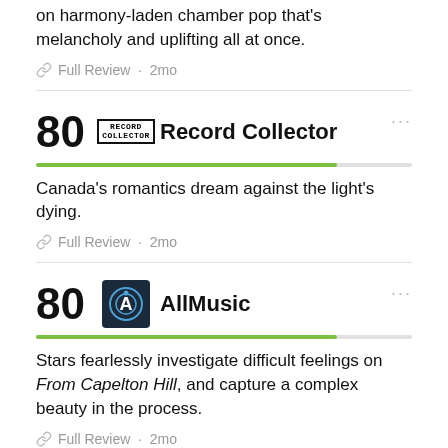on harmony-laden chamber pop that's melancholy and uplifting all at once.
Full Review · 2mo
80  Record Collector
Canada's romantics dream against the light's dying.
Full Review · 2mo
80  AllMusic
Stars fearlessly investigate difficult feelings on From Capelton Hill, and capture a complex beauty in the process.
Full Review · 2mo
80  Mojo